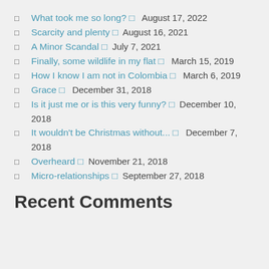What took me so long?  August 17, 2022
Scarcity and plenty  August 16, 2021
A Minor Scandal  July 7, 2021
Finally, some wildlife in my flat  March 15, 2019
How I know I am not in Colombia  March 6, 2019
Grace  December 31, 2018
Is it just me or is this very funny?  December 10, 2018
It wouldn't be Christmas without...  December 7, 2018
Overheard  November 21, 2018
Micro-relationships  September 27, 2018
Recent Comments